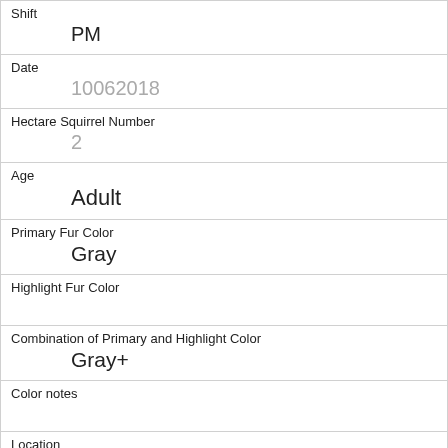| Shift | PM |
| Date | 10062018 |
| Hectare Squirrel Number | 2 |
| Age | Adult |
| Primary Fur Color | Gray |
| Highlight Fur Color |  |
| Combination of Primary and Highlight Color | Gray+ |
| Color notes |  |
| Location | Above Ground |
| Above Ground Sighter Measurement | 50 |